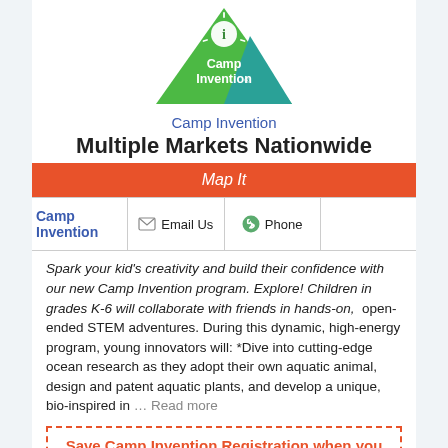[Figure (logo): Camp Invention logo - green and teal triangle with sun icon and white text reading Camp Invention]
Camp Invention
Multiple Markets Nationwide
Map It
| Camp Invention | Email Us | Phone |  |
| --- | --- | --- | --- |
Spark your kid's creativity and build their confidence with our new Camp Invention program. Explore! Children in grades K-6 will collaborate with friends in hands-on,  open-ended STEM adventures. During this dynamic, high-energy program, young innovators will: *Dive into cutting-edge ocean research as they adopt their own aquatic animal, design and patent aquatic plants, and develop a unique, bio-inspired in … Read more
Save Camp Invention Registration when you